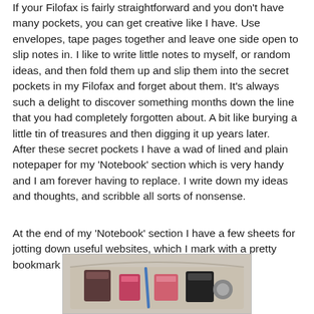If your Filofax is fairly straightforward and you don't have many pockets, you can get creative like I have.  Use envelopes, tape pages together and leave one side open to slip notes in. I like to write little notes to myself, or random ideas, and then fold them up and slip them into the secret pockets in my Filofax and forget about them. It's always such a delight to discover something months down the line that you had completely forgotten about. A bit like burying a little tin of treasures and then digging it up years later.
After these secret pockets I have a wad of lined and plain notepaper for my 'Notebook' section which is very handy and I am forever having to replace.  I write down my ideas and thoughts, and scribble all sorts of nonsense.
At the end of my 'Notebook' section I have a few sheets for jotting down useful websites, which I mark with a pretty bookmark from Paperchase for easy access.
[Figure (photo): A photograph showing various items (appears to be a bag or pouch with small objects/accessories arranged inside or around it), partially visible at the bottom of the page.]